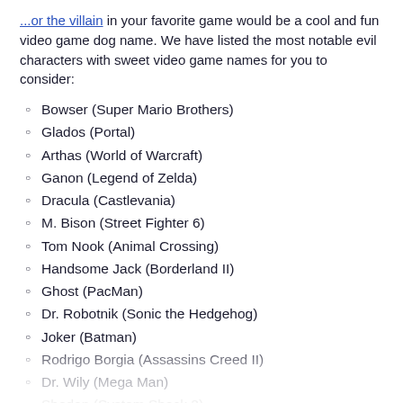...or the villain in your favorite game would be a cool and fun video game dog name. We have listed the most notable evil characters with sweet video game names for you to consider:
Bowser (Super Mario Brothers)
Glados (Portal)
Arthas (World of Warcraft)
Ganon (Legend of Zelda)
Dracula (Castlevania)
M. Bison (Street Fighter 6)
Tom Nook (Animal Crossing)
Handsome Jack (Borderland II)
Ghost (PacMan)
Dr. Robotnik (Sonic the Hedgehog)
Joker (Batman)
Rodrigo Borgia (Assassins Creed II)
Dr. Wily (Mega Man)
Shodan (System Shock 2)
Illusive Man (Massive Effect)